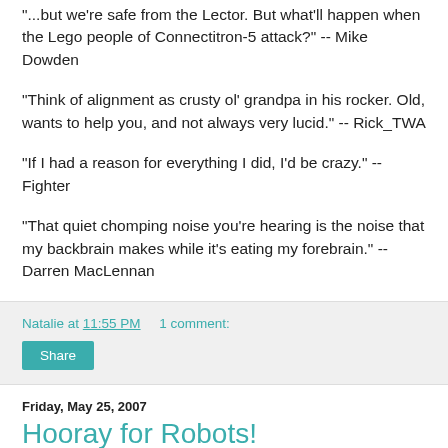"...but we're safe from the Lector. But what'll happen when the Lego people of Connectitron-5 attack?" -- Mike Dowden
"Think of alignment as crusty ol' grandpa in his rocker. Old, wants to help you, and not always very lucid." -- Rick_TWA
"If I had a reason for everything I did, I'd be crazy." -- Fighter
"That quiet chomping noise you're hearing is the noise that my backbrain makes while it's eating my forebrain." -- Darren MacLennan
Natalie at 11:55 PM    1 comment:
Share
Friday, May 25, 2007
Hooray for Robots!